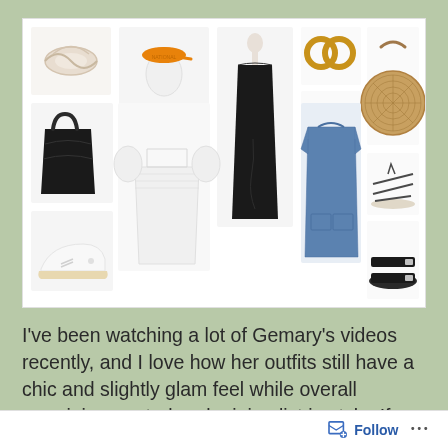[Figure (photo): Fashion mood board collage showing various clothing items and accessories: a silk scrunchie/scarf, an orange baseball cap on a mannequin head, a black sleeveless midi dress on a mannequin, wood hoop earrings, gold leaf earrings, a round woven straw bag, a black leather tote bag, a white puff-sleeve smock top, a blue denim shift dress, lace-up flat sandals, white sneakers, and black Birkenstock-style sandals]
I've been watching a lot of Gemary's videos recently, and I love how her outfits still have a chic and slightly glam feel while overall remaining neutral and minimalist in style. If you've been keeping an eye on my outfits this year, you know that is not my personal style
Follow ...